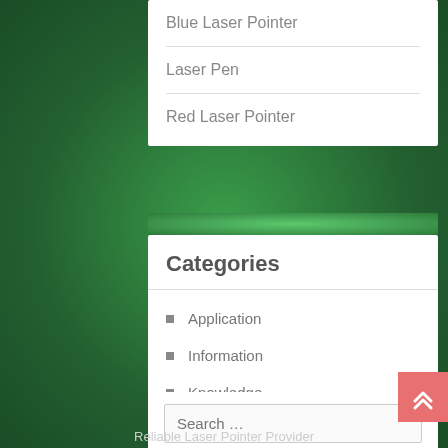Blue Laser Pointer
Laser Pen
Red Laser Pointer
Categories
Application
Information
Knowledge
Uncategorized
Search ...
Reliable Laser Pointer Provider